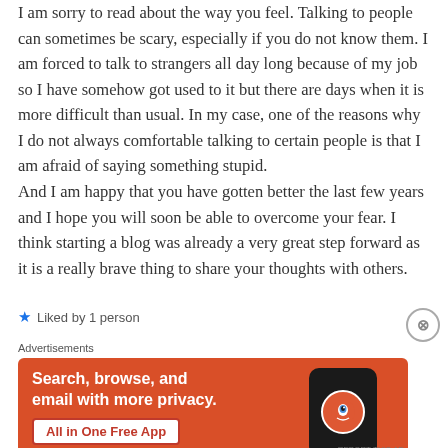I am sorry to read about the way you feel. Talking to people can sometimes be scary, especially if you do not know them. I am forced to talk to strangers all day long because of my job so I have somehow got used to it but there are days when it is more difficult than usual. In my case, one of the reasons why I do not always comfortable talking to certain people is that I am afraid of saying something stupid.
And I am happy that you have gotten better the last few years and I hope you will soon be able to overcome your fear. I think starting a blog was already a very great step forward as it is a really brave thing to share your thoughts with others.
★ Liked by 1 person
[Figure (screenshot): DuckDuckGo advertisement banner with orange background. Text reads: Search, browse, and email with more privacy. All in One Free App. Shows a smartphone with DuckDuckGo logo.]